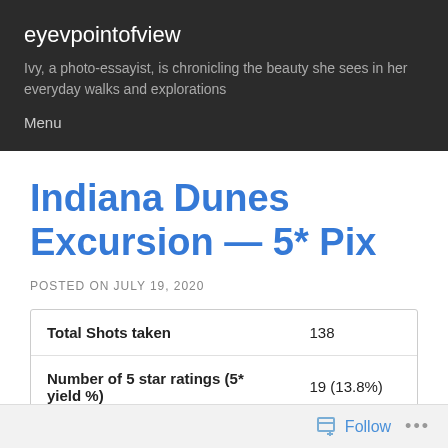eyevpointofview
Ivy, a photo-essayist, is chronicling the beauty she sees in her everyday walks and explorations
Menu
Indiana Dunes Excursion — 5* Pix
POSTED ON JULY 19, 2020
| Total Shots taken | 138 |
| Number of 5 star ratings (5* yield %) | 19 (13.8%) |